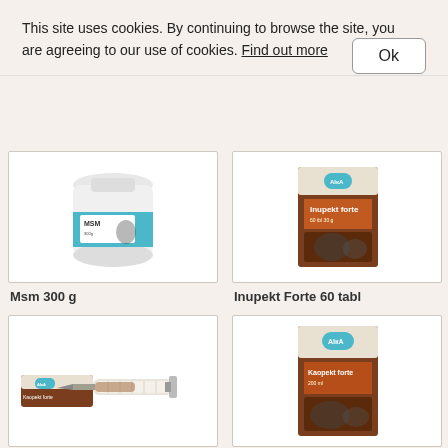This site uses cookies. By continuing to browse the site, you are agreeing to our use of cookies. Find out more
Ok
[Figure (photo): White cylindrical container of AIKA MSM 300g supplement for dogs]
Msm 300 g
[Figure (photo): Brown box of AIKA Inupekt Forte 60 tablets for dogs and cats]
Inupekt Forte 60 tabl
[Figure (photo): AIKA Kaopekt forte syringe product with brown packaging]
[Figure (photo): Brown box of AIKA Kaopekt forte 200ml for dogs and cats]